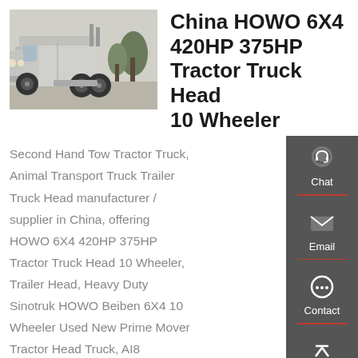[Figure (photo): Silver HOWO tractor truck head parked outdoors, front-side angle view.]
China HOWO 6X4 420HP 375HP Tractor Truck Head 10 Wheeler
Second Hand Tow Tractor Truck, Animal Transport Truck Trailer Truck Head manufacturer / supplier in China, offering HOWO 6X4 420HP 375HP Tractor Truck Head 10 Wheeler, Trailer Head, Heavy Duty Sinotruk HOWO Beiben 6X4 10 Wheeler Used New Prime Mover Tractor Head Truck, AI8